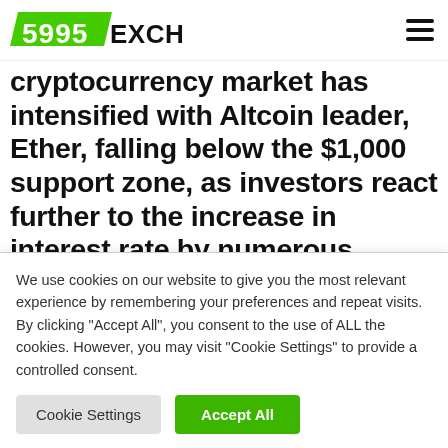5995EXCHANGE
cryptocurrency market has intensified with Altcoin leader, Ether, falling below the $1,000 support zone, as investors react further to the increase in interest rate by numerous central banks during the week, in a bid to tame the ever-increasing inflation rate.
During the week, the United Stat...
We use cookies on our website to give you the most relevant experience by remembering your preferences and repeat visits. By clicking "Accept All", you consent to the use of ALL the cookies. However, you may visit "Cookie Settings" to provide a controlled consent.